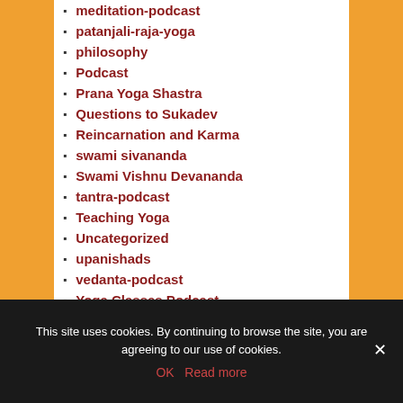meditation-podcast
patanjali-raja-yoga
philosophy
Podcast
Prana Yoga Shastra
Questions to Sukadev
Reincarnation and Karma
swami sivananda
Swami Vishnu Devananda
tantra-podcast
Teaching Yoga
Uncategorized
upanishads
vedanta-podcast
Yoga Classes Podcast
Yoga Mythology
This site uses cookies. By continuing to browse the site, you are agreeing to our use of cookies.
OK   Read more